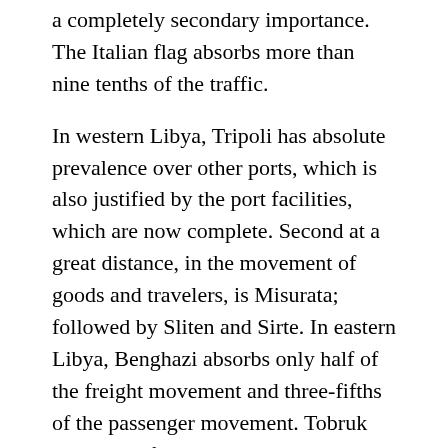mechanically propelled navigation prevails, sailing has now a completely secondary importance. The Italian flag absorbs more than nine tenths of the traffic.
In western Libya, Tripoli has absolute prevalence over other ports, which is also justified by the port facilities, which are now complete. Second at a great distance, in the movement of goods and travelers, is Misurata; followed by Sliten and Sirte. In eastern Libya, Benghazi absorbs only half of the freight movement and three-fifths of the passenger movement. Tobruk and Derna follow; at a great distance Apollonia. However, the works for the improvement of the port of Benghazi are proceeding briskly: the superstructure of the main pier is almost completed.
Communications. – The need for the construction of new railway lines in Libya has not emerged in recent years, because the extension of the lorry network and the consequent development of car traffic meet the economic